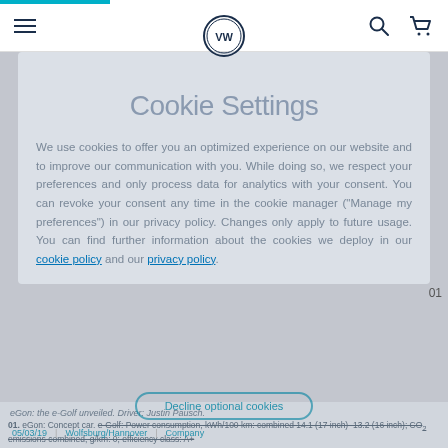VW website cookie settings page with navigation bar
Cookie Settings
We use cookies to offer you an optimized experience on our website and to improve our communication with you. While doing so, we respect your preferences and only process data for analytics with your consent. You can revoke your consent any time in the cookie manager ("Manage my preferences") in our privacy policy. Changes only apply to future usage. You can find further information about the cookies we deploy in our cookie policy and our privacy policy.
eGon: the e-Golf unveiled. Driver: Justin Pausch.
01. eGon: Concept car. e-Golf: Power consumption, kWh/100 km: combined 14.1 (17 inch)–13.2 (16 inch); CO₂ emissions combined, g/km: 0; efficiency class: A+
05/03/19 | Wolfsburg/Hannover | Company